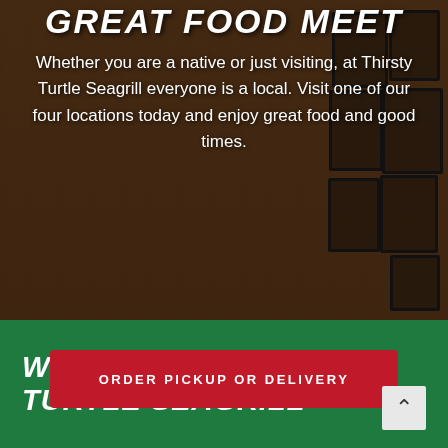[Figure (photo): Interior of Thirsty Turtle Seagrill bar/restaurant with framed sports memorabilia and posters on wood-paneled walls, dark atmospheric lighting]
GREAT FOOD MEET
Whether you are a native or just visiting, at Thirsty Turtle Seagrill everyone is a local. Visit one of our four locations today and enjoy great food and good times.
ORDER PICKUP OR DELIVERY
WELCOME TO THIRSTY TURTLE SEAGRILL